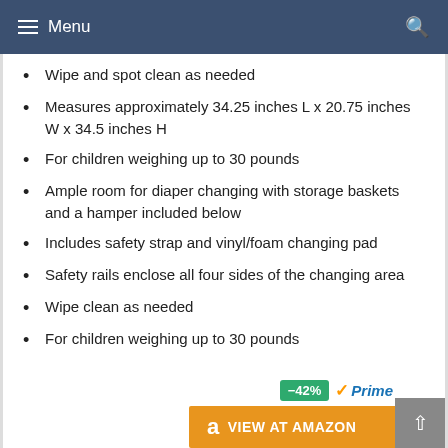Menu
Wipe and spot clean as needed
Measures approximately 34.25 inches L x 20.75 inches W x 34.5 inches H
For children weighing up to 30 pounds
Ample room for diaper changing with storage baskets and a hamper included below
Includes safety strap and vinyl/foam changing pad
Safety rails enclose all four sides of the changing area
Wipe clean as needed
For children weighing up to 30 pounds
[Figure (screenshot): -42% discount badge and Amazon Prime logo with VIEW AT AMAZON button]